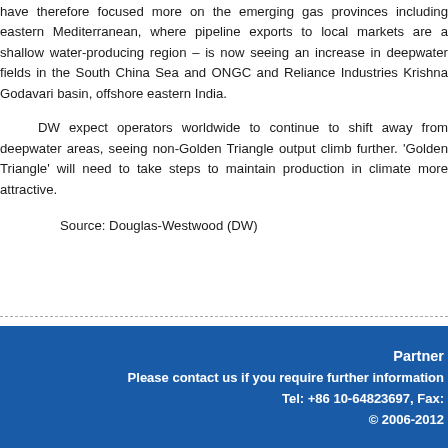have therefore focused more on the emerging gas provinces including eastern Mediterranean, where pipeline exports to local markets are a shallow water-producing region – is now seeing an increase in deepwater fields in the South China Sea and ONGC and Reliance Industries Krishna Godavari basin, offshore eastern India.
DW expect operators worldwide to continue to shift away from deepwater areas, seeing non-Golden Triangle output climb further. 'Golden Triangle' will need to take steps to maintain production in climate more attractive.
Source: Douglas-Westwood (DW)
Partner
Please contact us if you require further information
Tel: +86 10-64823697, Fax:
© 2006-2012